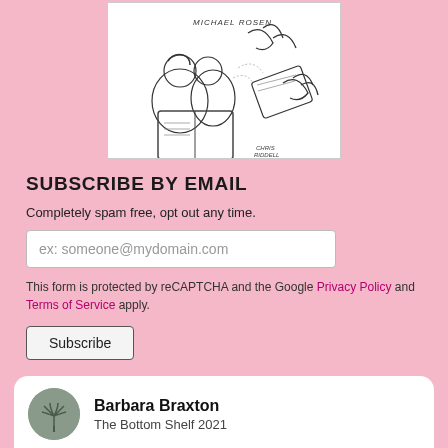[Figure (illustration): Hand-drawn sketch illustration showing two children reading a book, with hands emerging from a large book, signed 'Michael Rosen' at top and 'Chris Riddell' at bottom right.]
SUBSCRIBE BY EMAIL
Completely spam free, opt out any time.
ex: someone@mydomain.com
This form is protected by reCAPTCHA and the Google Privacy Policy and Terms of Service apply.
Subscribe
Barbara Braxton
The Bottom Shelf 2021